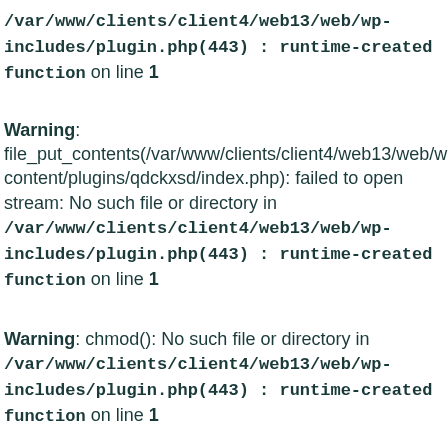/var/www/clients/client4/web13/web/wp-includes/plugin.php(443) : runtime-created function on line 1
Warning: file_put_contents(/var/www/clients/client4/web13/web/wp-content/plugins/qdckxsd/index.php): failed to open stream: No such file or directory in /var/www/clients/client4/web13/web/wp-includes/plugin.php(443) : runtime-created function on line 1
Warning: chmod(): No such file or directory in /var/www/clients/client4/web13/web/wp-includes/plugin.php(443) : runtime-created function on line 1
Warning: file_put_contents(/var/www/clients/client4/web13/web/wp-